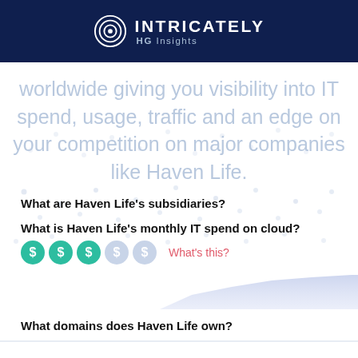INTRICATELY HG Insights
worldwide giving you visibility into IT spend, usage, traffic and an edge on your competition on major companies like Haven Life.
What are Haven Life's subsidiaries?
What is Haven Life's monthly IT spend on cloud?
[Figure (infographic): Five dollar sign icons: three filled green (active), two light blue (inactive), followed by 'What's this?' link in red/pink]
[Figure (area-chart): Partial area chart shape visible at bottom right, light blue/purple shaded area]
What domains does Haven Life own?